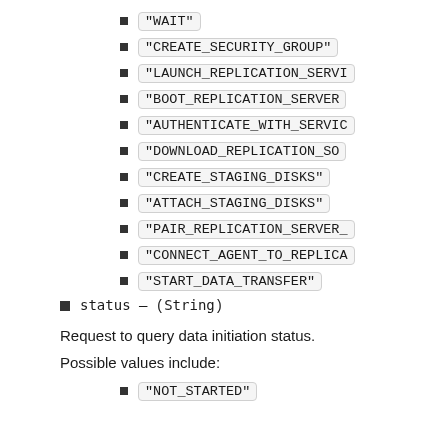"WAIT"
"CREATE_SECURITY_GROUP"
"LAUNCH_REPLICATION_SERV..."
"BOOT_REPLICATION_SERVER..."
"AUTHENTICATE_WITH_SERVIC..."
"DOWNLOAD_REPLICATION_SO..."
"CREATE_STAGING_DISKS"
"ATTACH_STAGING_DISKS"
"PAIR_REPLICATION_SERVER_..."
"CONNECT_AGENT_TO_REPLICA..."
"START_DATA_TRANSFER"
status — (String)
Request to query data initiation status.
Possible values include:
"NOT_STARTED"